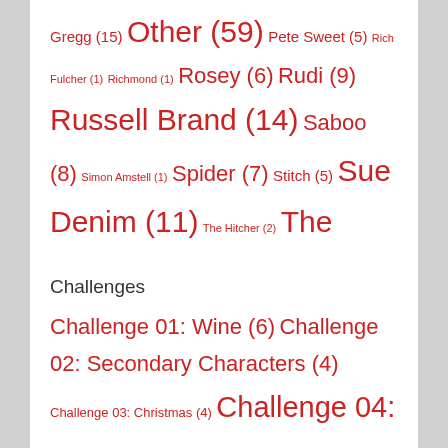Gregg (15) Other (59) Pete Sweet (5) Rich Fulcher (1) Richmond (1) Rosey (6) Rudi (9) Russell Brand (14) Saboo (8) Simon Amstell (1) Spider (7) Stitch (5) Sue Denim (11) The Hitcher (2) The Spirit of Jazz (6) Tony Harrison (1) Ultra (9) Vince Noir (231)
Challenges
Challenge 01: Wine (6) Challenge 02: Secondary Characters (4) Challenge 03: Christmas (4) Challenge 04: